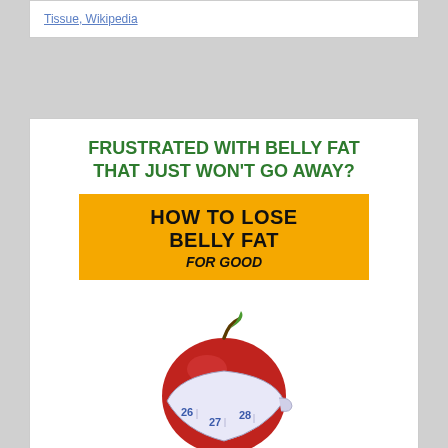Tissue, Wikipedia
FRUSTRATED WITH BELLY FAT THAT JUST WON'T GO AWAY?
[Figure (illustration): Yellow banner with text: HOW TO LOSE BELLY FAT FOR GOOD]
[Figure (photo): A red apple wrapped with a measuring tape showing numbers 26, 27, 28]
[Figure (illustration): Yellow banner with author name: Dr. Dennis Clark]
CONFUSED BY SO-CALLED EXPERTS?